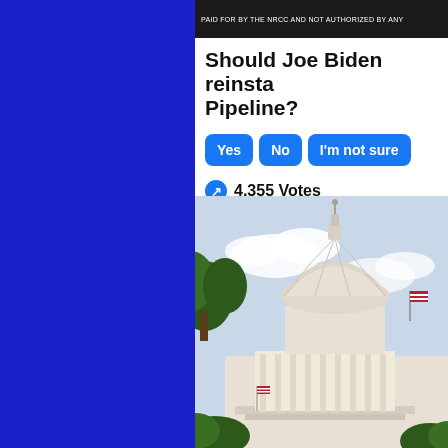PAID FOR BY THE NRCC AND NOT AUTHORIZED BY ANY
Should Joe Biden reinstate Pipeline?
Yes | No | I'm not sure
4,355 Votes
[Figure (photo): Photograph of the US Capitol building dome with trees and flag in foreground against a partly cloudy sky]